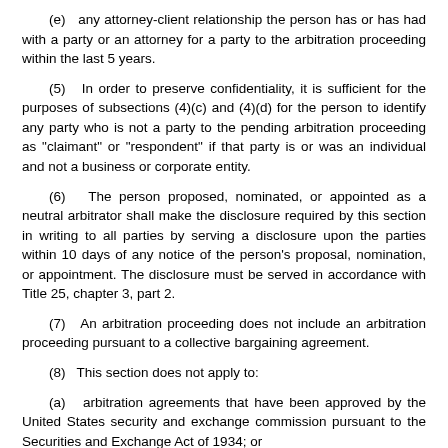(e)   any attorney-client relationship the person has or has had with a party or an attorney for a party to the arbitration proceeding within the last 5 years.
(5)   In order to preserve confidentiality, it is sufficient for the purposes of subsections (4)(c) and (4)(d) for the person to identify any party who is not a party to the pending arbitration proceeding as "claimant" or "respondent" if that party is or was an individual and not a business or corporate entity.
(6)   The person proposed, nominated, or appointed as a neutral arbitrator shall make the disclosure required by this section in writing to all parties by serving a disclosure upon the parties within 10 days of any notice of the person's proposal, nomination, or appointment. The disclosure must be served in accordance with Title 25, chapter 3, part 2.
(7)   An arbitration proceeding does not include an arbitration proceeding pursuant to a collective bargaining agreement.
(8)   This section does not apply to:
(a)   arbitration agreements that have been approved by the United States security and exchange commission pursuant to the Securities and Exchange Act of 1934; or